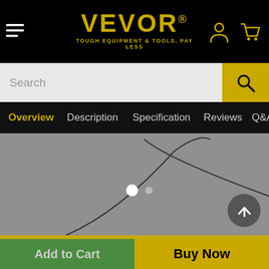VEVOR® - TOUGH EQUIPMENT & TOOLS, PAY LESS
[Figure (screenshot): VEVOR e-commerce website header with hamburger menu, VEVOR logo in gold, user account icon, and shopping cart icon on black background]
[Figure (screenshot): Search bar with grey input field and gold search button with magnifying glass icon]
Overview  Description  Specification  Reviews  Q&A  Reco...
[Figure (photo): Product image area showing a loading/grey placeholder with curved lines suggesting a product silhouette and two dots (carousel indicators), plus a back-to-top button in grey circle with up arrow]
Add to Cart
Buy Now